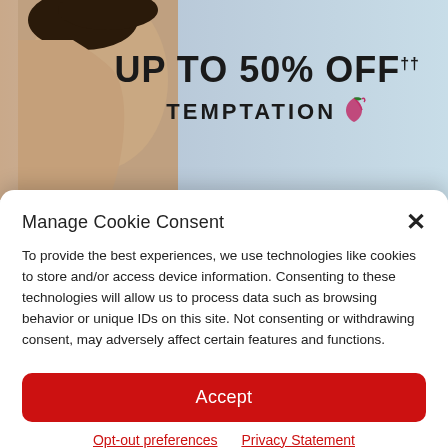[Figure (illustration): Advertisement banner showing a woman's bare back silhouette on left, light blue background, with text 'UP TO 50% OFF†† TEMPTATION' with logo on the right side.]
Manage Cookie Consent
To provide the best experiences, we use technologies like cookies to store and/or access device information. Consenting to these technologies will allow us to process data such as browsing behavior or unique IDs on this site. Not consenting or withdrawing consent, may adversely affect certain features and functions.
Accept
Opt-out preferences   Privacy Statement